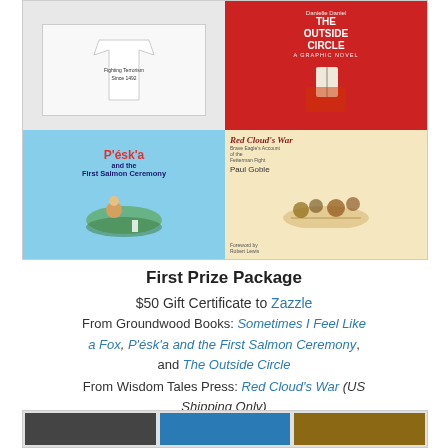[Figure (photo): Collage of book covers and a t-shirt: a white t-shirt reading 'Fighting Terrorism Since 1492', The Outside Circle graphic novel (red cover), P'ésk'a and the First Salmon Ceremony (blue cover with girl and goat), Red Cloud's War by Paul Goble]
First Prize Package
$50 Gift Certificate to Zazzle
From Groundwood Books: Sometimes I Feel Like a Fox, P'ésk'a and the First Salmon Ceremony, and The Outside Circle
From Wisdom Tales Press: Red Cloud's War (US Shipping Only)
[Figure (photo): Bottom strip showing partial book cover thumbnails]